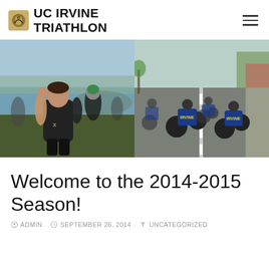UC IRVINE TRIATHLON
[Figure (photo): Two side-by-side photos: left shows triathlon athletes in wetsuits exiting water after swim; right shows cyclists in UC Irvine blue jerseys riding on a road.]
Welcome to the 2014-2015 Season!
ADMIN  SEPTEMBER 26, 2014  UNCATEGORIZED